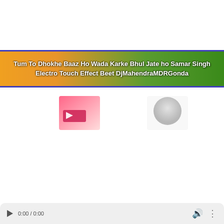Tum To Dhokhe Baaz Ho Wada Karke Bhul Jate ho Samar Singh Electro Touch Effect Beet DjMahendraMDRGonda
[Figure (screenshot): Video thumbnail on left showing a pink/red square with a small image]
[Figure (screenshot): Video thumbnail on right showing a grey circular shape]